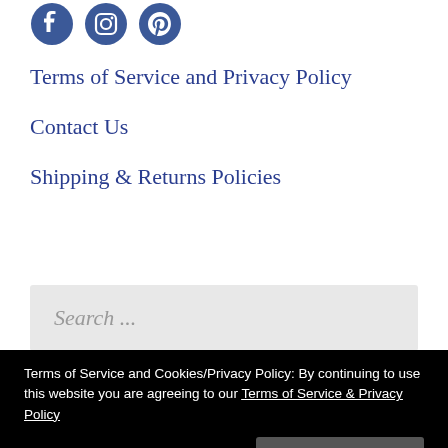[Figure (logo): Social media icons: Facebook, Instagram, Pinterest in blue]
Terms of Service and Privacy Policy
Contact Us
Shipping & Returns Policies
Search ...
Terms of Service and Cookies/Privacy Policy: By continuing to use this website you are agreeing to our Terms of Service & Privacy Policy
Close and accept